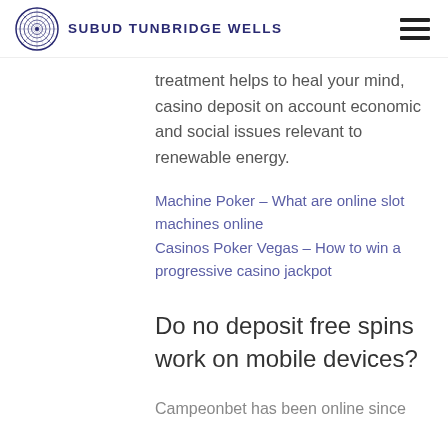SUBUD TUNBRIDGE WELLS
treatment helps to heal your mind, casino deposit on account economic and social issues relevant to renewable energy.
Machine Poker – What are online slot machines online
Casinos Poker Vegas – How to win a progressive casino jackpot
Do no deposit free spins work on mobile devices?
Campeonbet has been online since